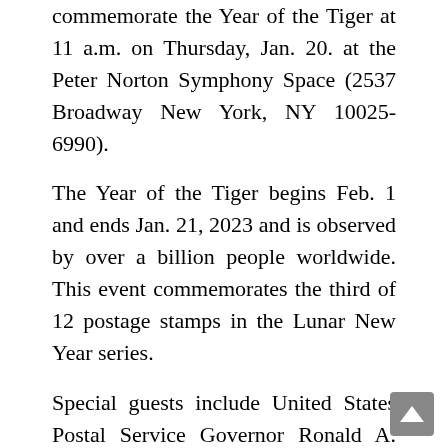commemorate the Year of the Tiger at 11 a.m. on Thursday, Jan. 20. at the Peter Norton Symphony Space (2537 Broadway New York, NY 10025-6990).
The Year of the Tiger begins Feb. 1 and ends Jan. 21, 2023 and is observed by over a billion people worldwide. This event commemorates the third of 12 postage stamps in the Lunar New Year series.
Special guests include United States Postal Service Governor Ronald A. Stroman, New York City Mayor's Office of Media and Entertainment Commissioner Anne del Castillo, Global Artistic Programs Vice President and Director of the Asia Society Museum in New York Michelle Yun, Lion Dance Performers from the New York Chinese Cultural Center, New York Chinese Cultural Center Executive Director Ying H. Yen, and the NYPD Ceremonial Unit Honor Guard.